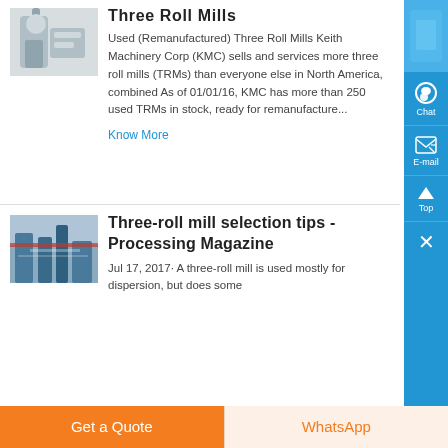[Figure (photo): Industrial pipes/machinery photo for Three Roll Mills listing]
Three Roll Mills
Used (Remanufactured) Three Roll Mills Keith Machinery Corp (KMC) sells and services more three roll mills (TRMs) than everyone else in North America, combined As of 01/01/16, KMC has more than 250 used TRMs in stock, ready for remanufacture...
Know More
[Figure (photo): Industrial machinery/mill photo for Three-roll mill selection tips listing]
Three-roll mill selection tips - Processing Magazine
Jul 17, 2017· A three-roll mill is used mostly for dispersion, but does some
Get a Quote
WhatsApp